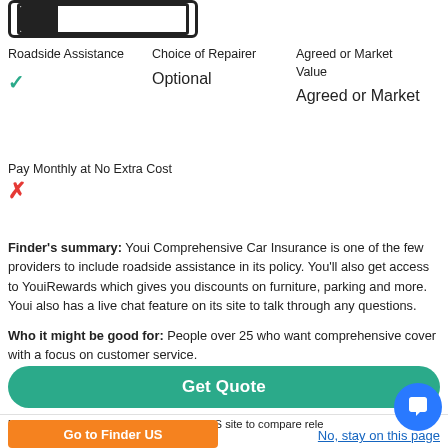[Figure (logo): Youi logo placeholder - rectangular outline with inner rectangle]
Roadside Assistance
✓
Choice of Repairer
Optional
Agreed or Market Value
Agreed or Market
Pay Monthly at No Extra Cost
✗
Finder's summary: Youi Comprehensive Car Insurance is one of the few providers to include roadside assistance in its policy. You'll also get access to YouiRewards which gives you discounts on furniture, parking and more. Youi also has a live chat feature on its site to talk through any questions.

Who it might be good for: People over 25 who want comprehensive cover with a focus on customer service.
Get Quote
Looks like you're in the US. Go to our US site to compare relevant products for your country.
Go to Finder US
No, stay on this page